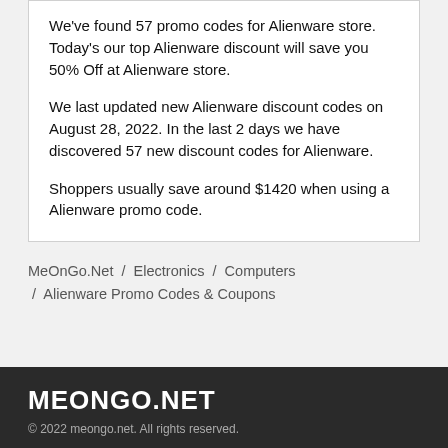We've found 57 promo codes for Alienware store. Today's our top Alienware discount will save you 50% Off at Alienware store.
We last updated new Alienware discount codes on August 28, 2022. In the last 2 days we have discovered 57 new discount codes for Alienware.
Shoppers usually save around $1420 when using a Alienware promo code.
MeOnGo.Net / Electronics / Computers / Alienware Promo Codes & Coupons
MEONGO.NET
© 2022 meongo.net. All rights reserved.